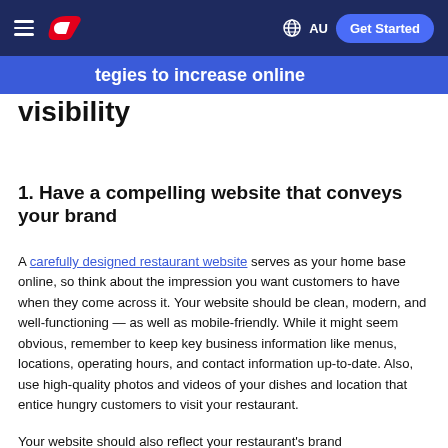DoorDash navigation bar with hamburger menu, DoorDash logo, globe AU selector, Get Started button
…tegies to increase online visibility
1. Have a compelling website that conveys your brand
A carefully designed restaurant website serves as your home base online, so think about the impression you want customers to have when they come across it. Your website should be clean, modern, and well-functioning — as well as mobile-friendly. While it might seem obvious, remember to keep key business information like menus, locations, operating hours, and contact information up-to-date. Also, use high-quality photos and videos of your dishes and location that entice hungry customers to visit your restaurant.
Your website should also reflect your restaurant's brand